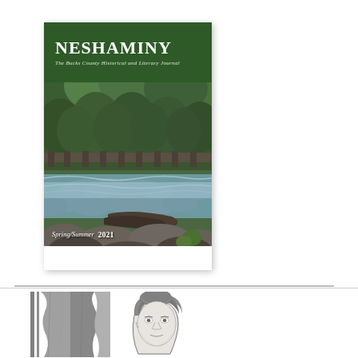[Figure (photo): Cover of Neshaminy journal showing a river scene with rocks, flowing water, trees, and a bridge in the background. The cover has a dark green header with 'NESHAMINY' in large white text and subtitle 'The Bucks County Historical and Literary Journal'. Bottom shows 'Spring/Summer 2021'.]
[Figure (illustration): Partial view of a black and white illustration showing a curtain or drape on the left side and a portrait sketch of a person's head and face on the right side.]